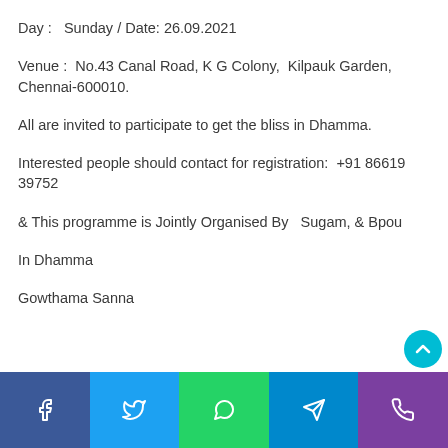Day :   Sunday / Date: 26.09.2021
Venue :  No.43 Canal Road, K G Colony,  Kilpauk Garden, Chennai-600010.
All are invited to participate to get the bliss in Dhamma.
Interested people should contact for registration:  +91 86619 39752
& This programme is Jointly Organised By   Sugam, & Bpou
In Dhamma
Gowthama Sanna
Social share buttons: Facebook, Twitter, WhatsApp, Telegram, Phone